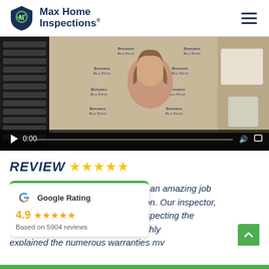[Figure (logo): Max Home Inspections logo with shield icon and company name]
[Figure (screenshot): Video thumbnail showing a woman smiling in front of Donohue Real Estate backdrop, with video playback controls showing 0:00]
REVIEW ★★★★★
[Figure (infographic): Google Rating card showing 4.9 stars based on 5904 reviews with Google G logo]
id an amazing job tion. Our inspector, inspecting the exterior of the property. He thoroughly explained the numerous warranties my